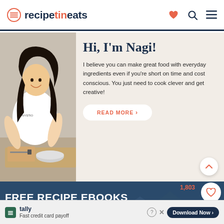recipetineats
[Figure (photo): Woman smiling, wearing a white t-shirt with 'NYSTIO' text and octopus graphic, standing at a kitchen counter with cutting board, knife, bowl, and ingredients]
Hi, I'm Nagi!
I believe you can make great food with everyday ingredients even if you're short on time and cost conscious. You just need to cook clever and get creative!
READ MORE >
[Figure (photo): Free Recipe Ebooks banner with dark blue background, showing mountain/cookbook imagery, text '1,803', heart icon, title 'FREE RECIPE EBOOKS', and subtext 'Join my free email list to receive THREE free']
Join my free email list to receive THREE free
Tally - Fast credit card payoff - Download Now